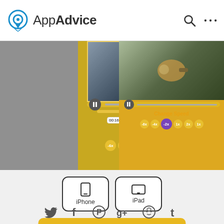AppAdvice
[Figure (screenshot): App screenshot showing video speed control interface with skateboarder and dog videos, Change Speed controls with -6x -4x -2x 1x 2x 4x 6x buttons in yellow/gold color scheme]
[Figure (infographic): iPhone and iPad device compatibility buttons with icons]
FREE
in the App Store
[Figure (infographic): Social media sharing icons: Twitter, Facebook, Pinterest, Google+, Reddit, Tumblr]